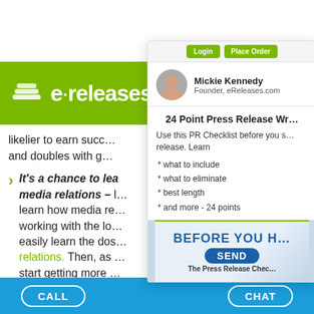[Figure (logo): eReleases green logo with stacked pages icon]
likelier to earn success and doubles with g
It's a chance to learn media relations – learn how media relations working with the local easily learn the dos and don'ts of media relations. Then, as start getting more you won't be competing with the media effects mistakes now than
Mickie Kennedy
Founder, eReleases.com
24 Point Press Release Writing Checklist
Use this PR Checklist before you submit your press release. Learn
* what to include
* what to eliminate
* best length
* and more - 24 points
[Figure (illustration): Book cover: BEFORE YOU HIT SEND - The Press Release Checklist with green accent]
CALL    CHAT